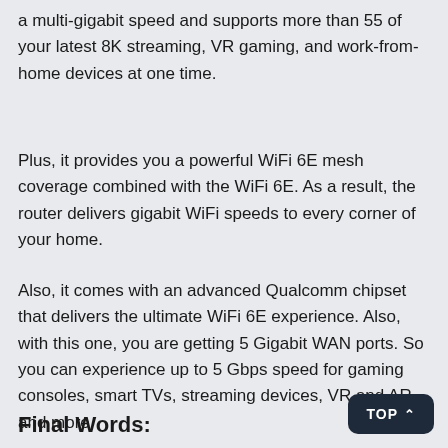a multi-gigabit speed and supports more than 55 of your latest 8K streaming, VR gaming, and work-from-home devices at one time.
Plus, it provides you a powerful WiFi 6E mesh coverage combined with the WiFi 6E. As a result, the router delivers gigabit WiFi speeds to every corner of your home.
Also, it comes with an advanced Qualcomm chipset that delivers the ultimate WiFi 6E experience. Also, with this one, you are getting 5 Gigabit WAN ports. So you can experience up to 5 Gbps speed for gaming consoles, smart TVs, streaming devices, VR and AR, and more.
Final Words: